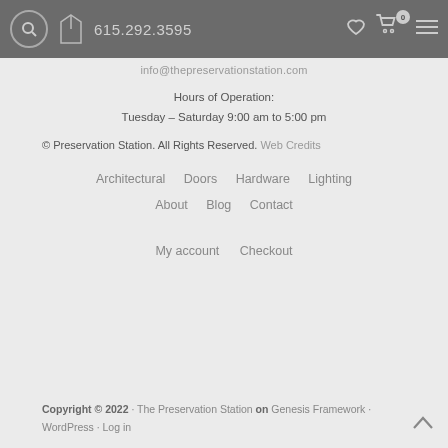615.292.3595
info@thepreservationstation.com
Hours of Operation:
Tuesday – Saturday 9:00 am to 5:00 pm
© Preservation Station. All Rights Reserved. Web Credits
Architectural
Doors
Hardware
Lighting
About
Blog
Contact
My account
Checkout
Copyright © 2022 · The Preservation Station on Genesis Framework · WordPress · Log in